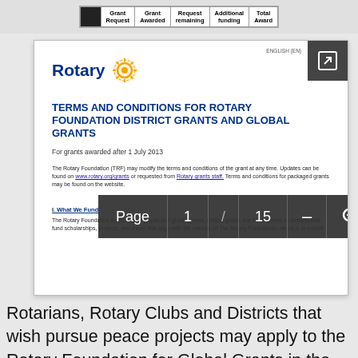|  | Grant Request | Grant Awarded | Request remaining | Additional funding | Total Award |
| --- | --- | --- | --- | --- | --- |
[Figure (screenshot): Screenshot of Rotary Foundation Terms and Conditions document page 1 of 15, showing Rotary logo, document title 'TERMS AND CONDITIONS FOR ROTARY FOUNDATION DISTRICT GRANTS AND GLOBAL GRANTS', subtitle 'For grants awarded after 1 July 2013', introductory text, and a page navigation overlay showing Page 1 / 15]
Rotarians, Rotary Clubs and Districts that wish pursue peace projects may apply to the Rotary Foundation for Global Grants in the area of focus under Peace, Conflict Prevention and Resolution. Peace Projects may be undertaken by Rotarians alone or collaboratively with Rotary Peace Fellows and Peace organizations with expertise